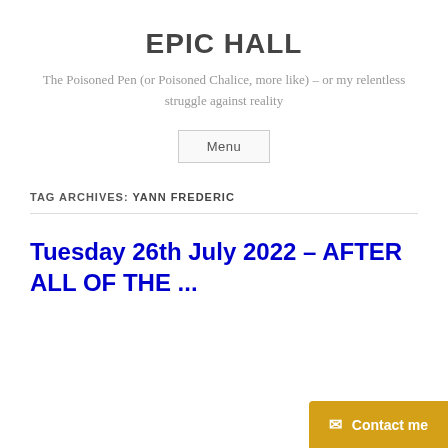EPIC HALL
The Poisoned Pen (or Poisoned Chalice, more like) – or my relentless struggle against reality
Menu
TAG ARCHIVES: YANN FREDERIC
Tuesday 26th July 2022 – AFTER ALL OF THE ...
Contact me